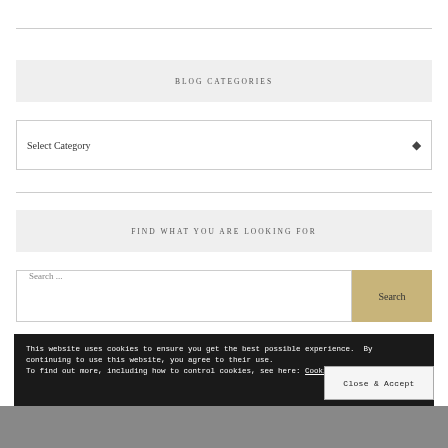BLOG CATEGORIES
Select Category
FIND WHAT YOU ARE LOOKING FOR
Search ...
This website uses cookies to ensure you get the best possible experience. By continuing to use this website, you agree to their use.
To find out more, including how to control cookies, see here: Cookie Policy
Close & Accept